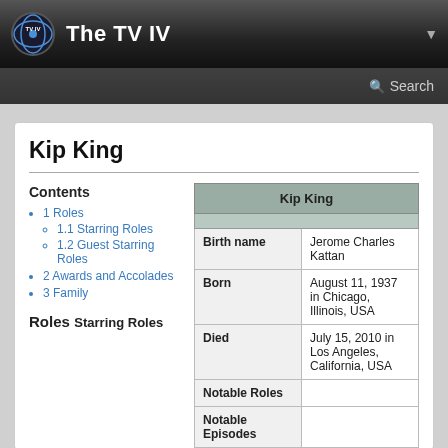The TV IV
Kip King
Contents
1 Roles
1.1 Starring Roles
1.2 Guest Starring Roles
2 Awards and Accolades
3 Family
Roles
Starring Roles
| Kip King |
| --- |
| Birth name | Jerome Charles Kattan |
| Born | August 11, 1937 in Chicago, Illinois, USA |
| Died | July 15, 2010 in Los Angeles, California, USA |
| Notable Roles |  |
| Notable Episodes |  |
| Awards |  |